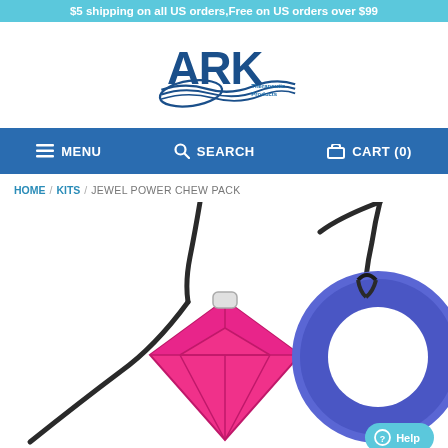$5 shipping on all US orders,Free on US orders over $99
[Figure (logo): ARK Therapeutic Products logo in blue]
MENU  SEARCH  CART (0)
HOME / KITS / JEWEL POWER CHEW PACK
[Figure (photo): Two silicone chew necklace pendants on black cords: a hot pink diamond-shaped jewel chew on the left and a blue donut/ring-shaped chew on the right]